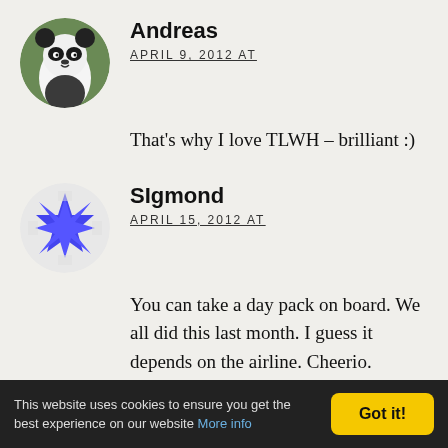[Figure (photo): Circular avatar of a panda bear]
Andreas
APRIL 9, 2012 AT
That’s why I love TLWH – brilliant :)
[Figure (illustration): Circular avatar with blue star/snowflake shape on white background]
SIgmond
APRIL 15, 2012 AT
You can take a day pack on board. We all did this last month. I guess it depends on the airline. Cheerio.
This website uses cookies to ensure you get the best experience on our website More info
Got it!